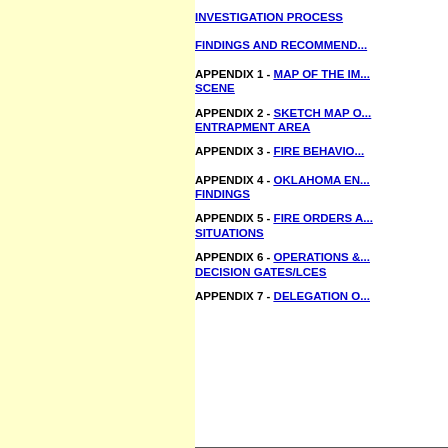INVESTIGATION PROCESS
FINDINGS AND RECOMMENDATIONS
APPENDIX 1 - MAP OF THE IMMEDIATE SCENE
APPENDIX 2 - SKETCH MAP OF ENTRAPMENT AREA
APPENDIX 3 - FIRE BEHAVIOR
APPENDIX 4 - OKLAHOMA ENGINE FINDINGS
APPENDIX 5 - FIRE ORDERS AND WATCH OUT SITUATIONS
APPENDIX 6 - OPERATIONS & PLANNING DECISION GATES/LCES
APPENDIX 7 - DELEGATION OF AUTHORITY